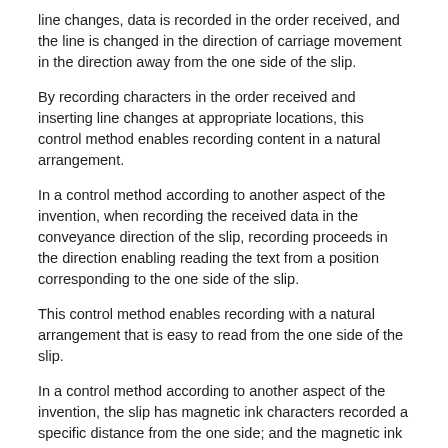line changes, data is recorded in the order received, and the line is changed in the direction of carriage movement in the direction away from the one side of the slip.
By recording characters in the order received and inserting line changes at appropriate locations, this control method enables recording content in a natural arrangement.
In a control method according to another aspect of the invention, when recording the received data in the conveyance direction of the slip, recording proceeds in the direction enabling reading the text from a position corresponding to the one side of the slip.
This control method enables recording with a natural arrangement that is easy to read from the one side of the slip.
In a control method according to another aspect of the invention, the slip has magnetic ink characters recorded a specific distance from the one side; and the magnetic ink characters on the slip are read by a reading unit disposed to the conveyance path at a position separated a specific distance from the guide.
The control method according to this aspect of the invention enables detecting the length of the slip in the conveyance direction using a length detection unit while conveying the slip to read magnetic ink characters,